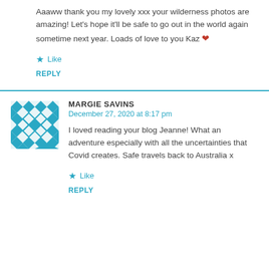Aaaww thank you my lovely xxx your wilderness photos are amazing! Let's hope it'll be safe to go out in the world again sometime next year. Loads of love to you Kaz ❤
★ Like
REPLY
MARGIE SAVINS
December 27, 2020 at 8:17 pm
I loved reading your blog Jeanne! What an adventure especially with all the uncertainties that Covid creates. Safe travels back to Australia x
★ Like
REPLY